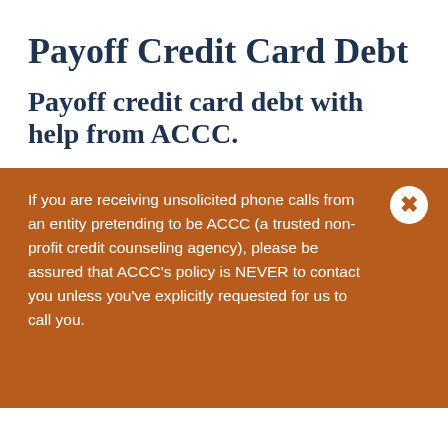Payoff Credit Card Debt
Payoff credit card debt with help from ACCC.
If you are receiving unsolicited phone calls from an entity pretending to be ACCC (a trusted non-profit credit counseling agency), please be assured that ACCC’s policy is NEVER to contact you unless you’ve explicitly requested for us to call you.